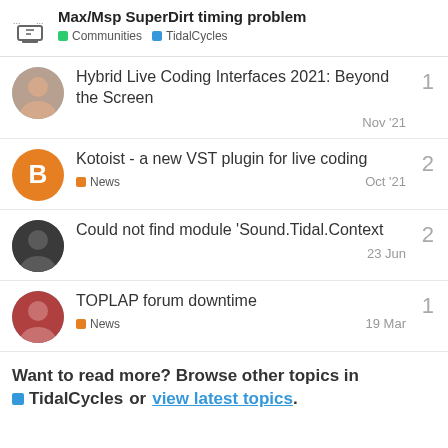Max/Msp SuperDirt timing problem — Communities TidalCycles
Hybrid Live Coding Interfaces 2021: Beyond the Screen — 1 — Nov '21
Kotoist - a new VST plugin for live coding — News — 2 — Oct '21
Could not find module 'Sound.Tidal.Context — 2 — 23 Jun
TOPLAP forum downtime — News — 1 — 19 Mar
Want to read more? Browse other topics in TidalCycles or view latest topics.